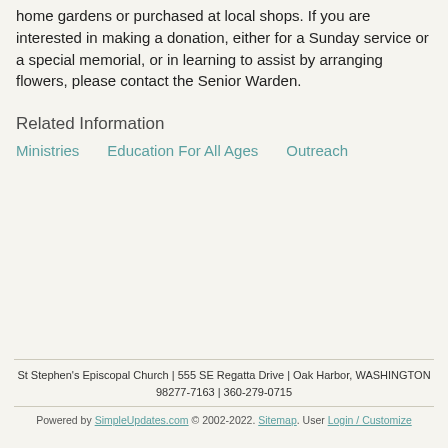home gardens or purchased at local shops. If you are interested in making a donation, either for a Sunday service or a special memorial, or in learning to assist by arranging flowers, please contact the Senior Warden.
Related Information
Ministries
Education For All Ages
Outreach
St Stephen's Episcopal Church | 555 SE Regatta Drive | Oak Harbor, WASHINGTON 98277-7163 | 360-279-0715
Powered by SimpleUpdates.com © 2002-2022. Sitemap. User Login / Customize